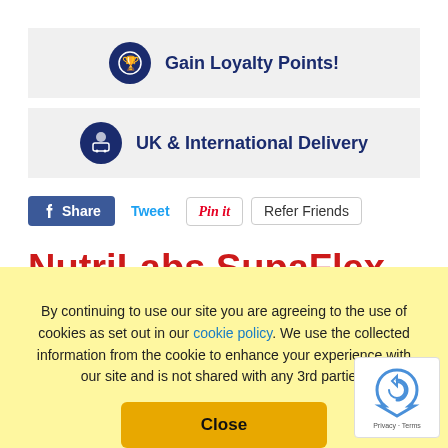Gain Loyalty Points!
UK & International Delivery
Share  Tweet  Pin it  Refer Friends
NutriLabs SupaFlex 120
By continuing to use our site you are agreeing to the use of cookies as set out in our cookie policy. We use the collected information from the cookie to enhance your experience with our site and is not shared with any 3rd parties.
Close